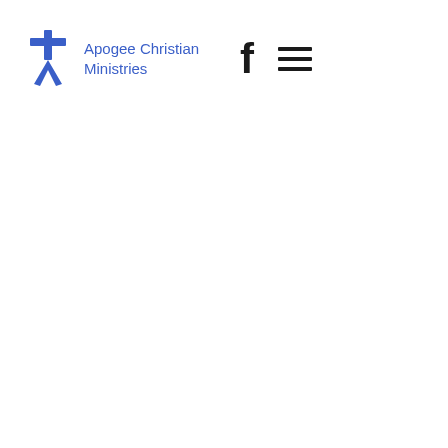[Figure (logo): Apogee Christian Ministries logo: blue cross with stylized figure arms extended, alongside the text 'Apogee Christian Ministries' in blue, and a Facebook 'f' icon and hamburger menu icon in black.]